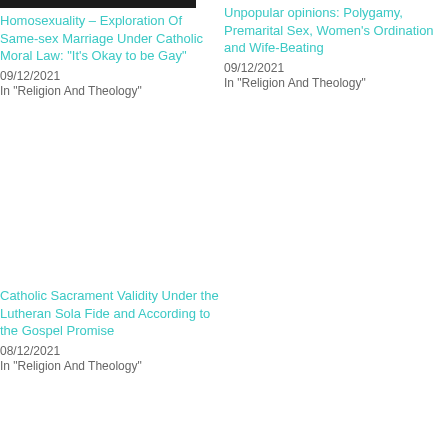[Figure (photo): Dark/black image placeholder at top of left column]
Homosexuality – Exploration Of Same-sex Marriage Under Catholic Moral Law: "It's Okay to be Gay"
09/12/2021
In "Religion And Theology"
Unpopular opinions: Polygamy, Premarital Sex, Women's Ordination and Wife-Beating
09/12/2021
In "Religion And Theology"
Catholic Sacrament Validity Under the Lutheran Sola Fide and According to the Gospel Promise
08/12/2021
In "Religion And Theology"